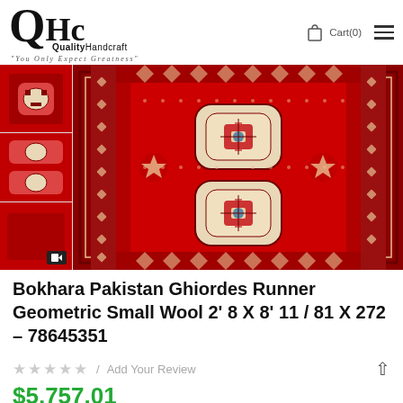[Figure (logo): QHc Quality Handcraft logo with tagline 'You Only Expect Greatness']
Cart(0)
[Figure (photo): Red Bokhara Pakistan Ghiordes runner rug with geometric patterns and medallions; three thumbnails on the left side including a video thumbnail]
Bokhara Pakistan Ghiordes Runner Geometric Small Wool 2’ 8 X 8’ 11 / 81 X 272 – 78645351
/ Add Your Review
$5,757.01